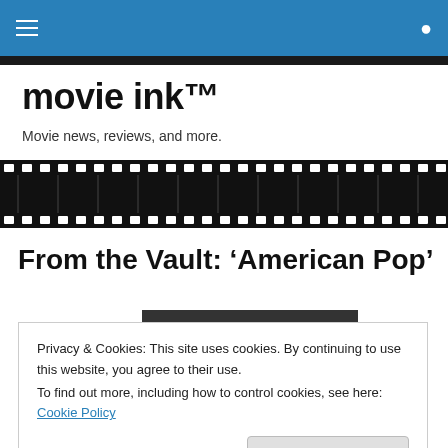movie ink™ — navigation bar
[Figure (illustration): Film strip decorative banner, black with white perforations and frames]
movie ink™
Movie news, reviews, and more.
From the Vault: 'American Pop'
Privacy & Cookies: This site uses cookies. By continuing to use this website, you agree to their use.
To find out more, including how to control cookies, see here: Cookie Policy